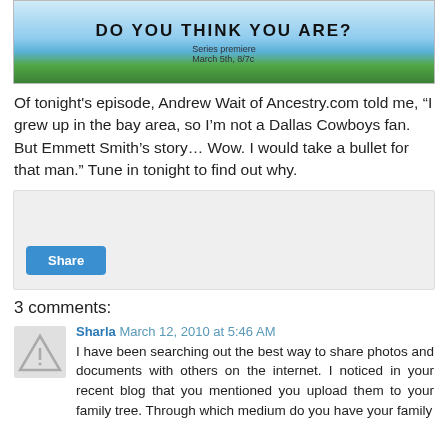[Figure (photo): Banner image for a TV show titled 'Do You Think You Are?' with text 'Series premiere March 5th, 8/7c' and a tree on a green field under a blue sky.]
Of tonight's episode, Andrew Wait of Ancestry.com told me, "I grew up in the bay area, so I'm not a Dallas Cowboys fan. But Emmett Smith's story… Wow. I would take a bullet for that man." Tune in tonight to find out why.
[Figure (screenshot): A gray share widget box with a Share button in blue.]
3 comments:
Sharla March 12, 2010 at 5:46 AM
I have been searching out the best way to share photos and documents with others on the internet. I noticed in your recent blog that you mentioned you upload them to your family tree. Through which medium do you have your family